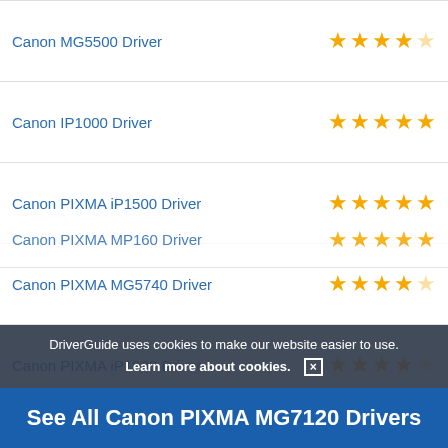Canon MG5500 Driver
Canon IP1000 Driver
Canon PIXMA iP1500 Driver
Canon PIXMA MG5740 Driver
Canon PIXMA iP1800 Driver
Canon PIXMA MP150 Driver
Canon PIXMA iP3500 Driver
Canon PIXMA MP160 Driver
DriverGuide uses cookies to make our website easier to use.
Learn more about cookies. [×]
See All Canon PIXMA MG7120 Drivers